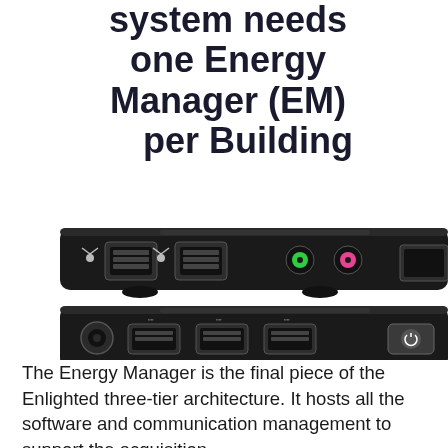system needs one Energy Manager (EM) per Building
[Figure (photo): Photo of two Energy Manager (EM) hardware devices showing front panel ports — top device shows ethernet ports, audio jacks (green and pink), and USB port; bottom device shows USB ports and power button.]
The Energy Manager is the final piece of the Enlighted three-tier architecture. It hosts all the software and communication management to support the acquisition and processing of data in the system.